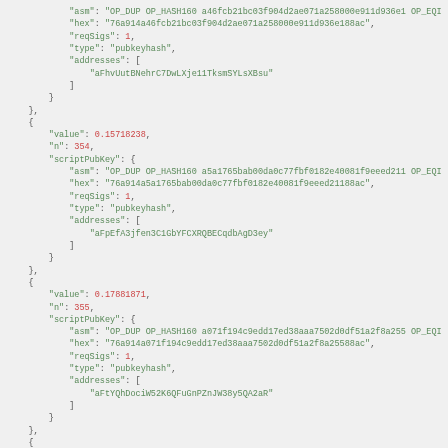JSON code block showing Bitcoin transaction output data with scriptPubKey fields including asm, hex, reqSigs, type, and addresses for entries n:354, n:355, and partial n entry